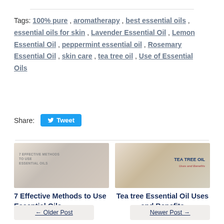Tags: 100% pure, aromatherapy, best essential oils, essential oils for skin, Lavender Essential Oil, Lemon Essential Oil, peppermint essential oil, Rosemary Essential Oil, skin care, tea tree oil, Use of Essential Oils
Share: Tweet
[Figure (photo): Thumbnail image for '7 Effective Methods to Use Essential Oils' showing a woman in a striped shirt with overlay text]
7 Effective Methods to Use Essential Oils
[Figure (photo): Thumbnail image for 'Tea tree Essential Oil Uses and Benefits' showing essential oil bottles and bath bombs with TEA TREE OIL text overlay]
Tea tree Essential Oil Uses and Benefits
← Older Post    Newer Post →